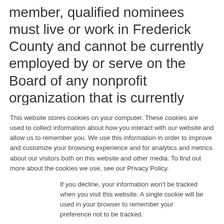member, qualified nominees must live or work in Frederick County and cannot be currently employed by or serve on the Board of any nonprofit organization that is currently receiving or has previously received grant funding from Delaplaine Foundation.
This website stores cookies on your computer. These cookies are used to collect information about how you interact with our website and allow us to remember you. We use this information in order to improve and customize your browsing experience and for analytics and metrics about our visitors both on this website and other media. To find out more about the cookies we use, see our Privacy Policy.
If you decline, your information won't be tracked when you visit this website. A single cookie will be used in your browser to remember your preference not to be tracked.
Accept
Decline